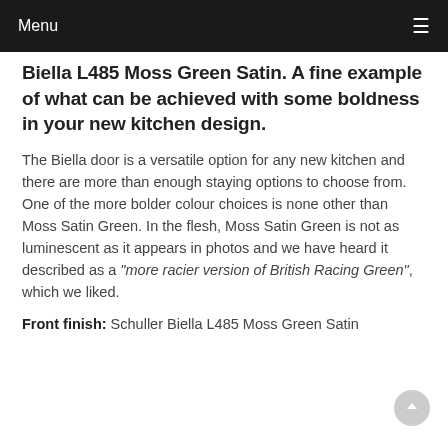Menu
Biella L485 Moss Green Satin. A fine example of what can be achieved with some boldness in your new kitchen design.
The Biella door is a versatile option for any new kitchen and there are more than enough staying options to choose from. One of the more bolder colour choices is none other than Moss Satin Green. In the flesh, Moss Satin Green is not as luminescent as it appears in photos and we have heard it described as a “more racier version of British Racing Green”, which we liked.
Front finish: Schuller Biella L485 Moss Green Satin